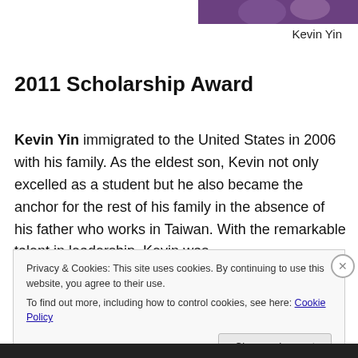[Figure (photo): Photo of Kevin Yin in graduation attire with pink flowers, partially visible at top right corner]
Kevin Yin
2011 Scholarship Award
Kevin Yin immigrated to the United States in 2006 with his family. As the eldest son, Kevin not only excelled as a student but he also became the anchor for the rest of his family in the absence of his father who works in Taiwan. With the remarkable talent in leadership, Kevin was
Privacy & Cookies: This site uses cookies. By continuing to use this website, you agree to their use.
To find out more, including how to control cookies, see here: Cookie Policy